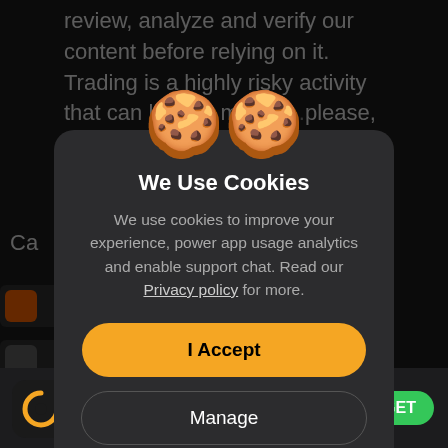review, analyze and verify our content before relying on it. Trading is a highly risky activity that can lead to major l... please,
[Figure (illustration): Two cartoon cookie emojis with smiley faces, used as the header icon for the cookie consent modal dialog.]
We Use Cookies
We use cookies to improve your experience, power app usage analytics and enable support chat. Read our Privacy policy for more.
I Accept
Manage
(935K)
GET